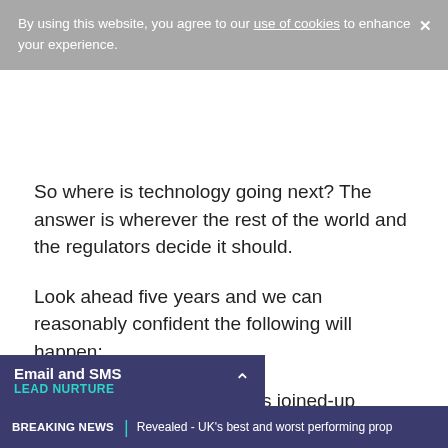By using this website, you agree to our use of cookies to enhance your experience.
So where is technology going next? The answer is wherever the rest of the world and the regulators decide it should.
Look ahead five years and we can reasonably confident the following will happen:
More systems integration as joined-up working becomes the norm.
Remote screen sharing and video. Why leave the [office] when you can talk to
Email and SMS LEAD NURTURE
BREAKING NEWS | Revealed - UK's best and worst performing prop